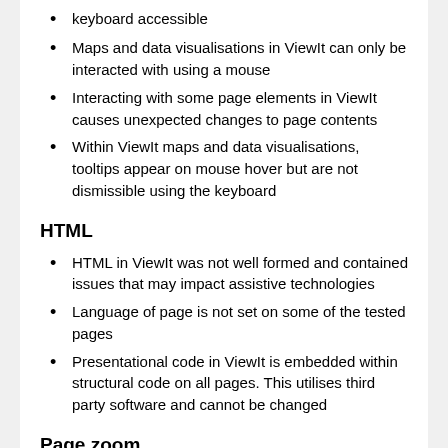keyboard accessible
Maps and data visualisations in ViewIt can only be interacted with using a mouse
Interacting with some page elements in ViewIt causes unexpected changes to page contents
Within ViewIt maps and data visualisations, tooltips appear on mouse hover but are not dismissible using the keyboard
HTML
HTML in ViewIt was not well formed and contained issues that may impact assistive technologies
Language of page is not set on some of the tested pages
Presentational code in ViewIt is embedded within structural code on all pages. This utilises third party software and cannot be changed
Page zoom